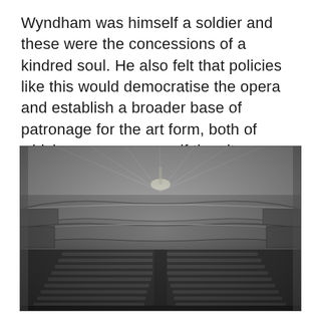Wyndham was himself a soldier and these were the concessions of a kindred soul. He also felt that policies like this would democratise the opera and establish a broader base of patronage for the art form, both of which were necessary if the city wished to secure the opera's future.
[Figure (photo): Black and white historical photograph of the interior of an opera house or theatre, showing rows of seats on the floor, ornate balconies on multiple levels, and a decorated ceiling with a chandelier. The view is from the back of the auditorium looking toward the stage.]